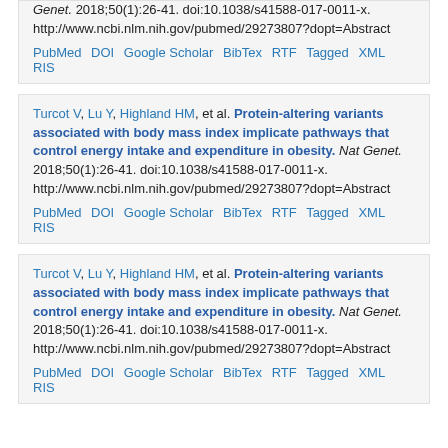Genet. 2018;50(1):26-41. doi:10.1038/s41588-017-0011-x.  http://www.ncbi.nlm.nih.gov/pubmed/29273807?dopt=Abstract
PubMed  DOI  Google Scholar  BibTex  RTF  Tagged  XML  RIS
Turcot V, Lu Y, Highland HM, et al. Protein-altering variants associated with body mass index implicate pathways that control energy intake and expenditure in obesity. Nat Genet. 2018;50(1):26-41. doi:10.1038/s41588-017-0011-x.  http://www.ncbi.nlm.nih.gov/pubmed/29273807?dopt=Abstract
PubMed  DOI  Google Scholar  BibTex  RTF  Tagged  XML  RIS
Turcot V, Lu Y, Highland HM, et al. Protein-altering variants associated with body mass index implicate pathways that control energy intake and expenditure in obesity. Nat Genet. 2018;50(1):26-41. doi:10.1038/s41588-017-0011-x.  http://www.ncbi.nlm.nih.gov/pubmed/29273807?dopt=Abstract
PubMed  DOI  Google Scholar  BibTex  RTF  Tagged  XML  RIS